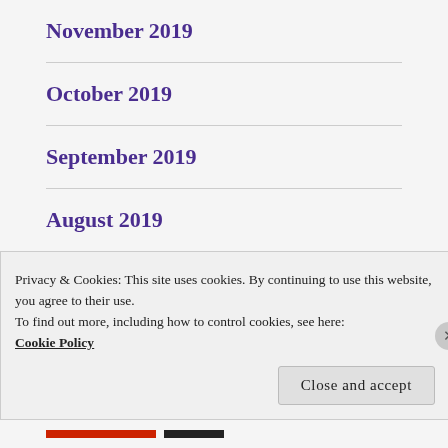November 2019
October 2019
September 2019
August 2019
July 2019
June 2019
Privacy & Cookies: This site uses cookies. By continuing to use this website, you agree to their use.
To find out more, including how to control cookies, see here: Cookie Policy
Close and accept